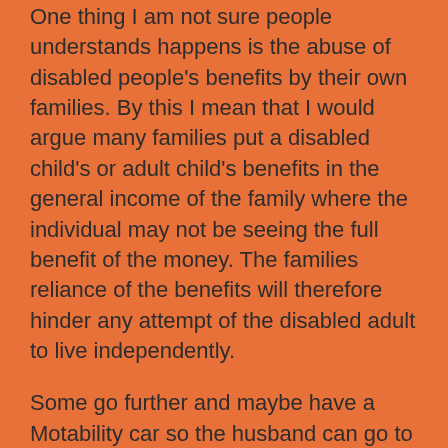One thing I am not sure people understands happens is the abuse of disabled people's benefits by their own families. By this I mean that I would argue many families put a disabled child's or adult child's benefits in the general income of the family where the individual may not be seeing the full benefit of the money. The families reliance of the benefits will therefore hinder any attempt of the disabled adult to live independently.
Some go further and maybe have a Motability car so the husband can go to work as the child in put on school transport. Worst still, I have seen adults in residential care unable to go out and have meaningful daytime activity because their families have kept hold on their benefits